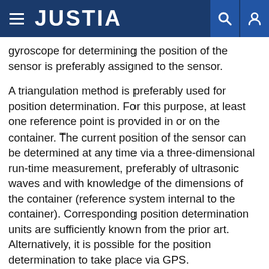JUSTIA
gyroscope for determining the position of the sensor is preferably assigned to the sensor.
A triangulation method is preferably used for position determination. For this purpose, at least one reference point is provided in or on the container. The current position of the sensor can be determined at any time via a three-dimensional run-time measurement, preferably of ultrasonic waves and with knowledge of the dimensions of the container (reference system internal to the container). Corresponding position determination units are sufficiently known from the prior art. Alternatively, it is possible for the position determination to take place via GPS.
The following is also proposed: a method for the spatially resolved determination of at least one physical or chemical process variable of a flowable medium